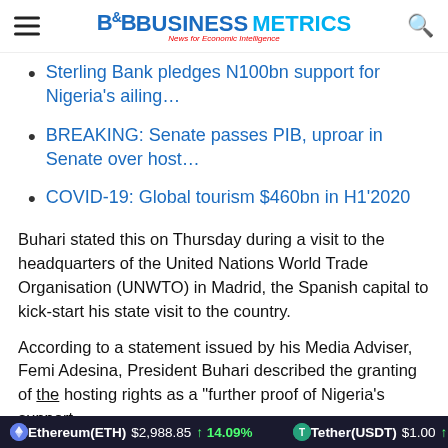B&B BUSINESS METRICS — News for Economic Intelligence
Sterling Bank pledges N100bn support for Nigeria's ailing...
BREAKING: Senate passes PIB, uproar in Senate over host...
COVID-19: Global tourism $460bn in H1'2020
Buhari stated this on Thursday during a visit to the headquarters of the United Nations World Trade Organisation (UNWTO) in Madrid, the Spanish capital to kick-start his state visit to the country.
According to a statement issued by his Media Adviser, Femi Adesina, President Buhari described the granting of the hosting rights as a “further proof of Nigeria’s support
Ethereum(ETH) $2,988.85 ↑ 14.09%   Tether(USDT) $1.00 ↑ 0.01%